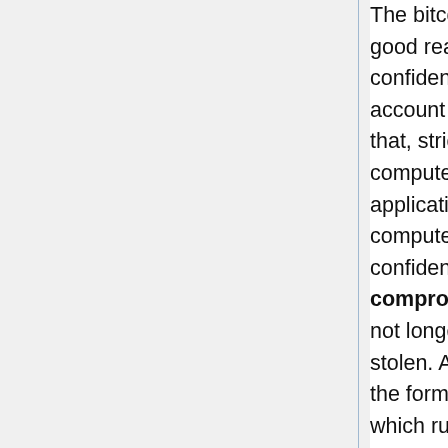The bitcoin software assumes (for very good reasons) that integrity and confidentality of the computer and user account is intact. The reason for this is that, strictly spoken, securing the computer is not the business of some application software like bitcoin. A computer which has not both its confidentiality and integrity ensured, is compromised. This means, that it can not longer be excluded that Bitcoins are stolen. A computer on which malware in the form of some trojan is installed or which runs any virus, is always compromised. All data - including the bitcoin wallet - could be "stolen". On the other hand - and this is far more far-reaching and important - the other software on the computer is absolutely no longer under control of the user. A